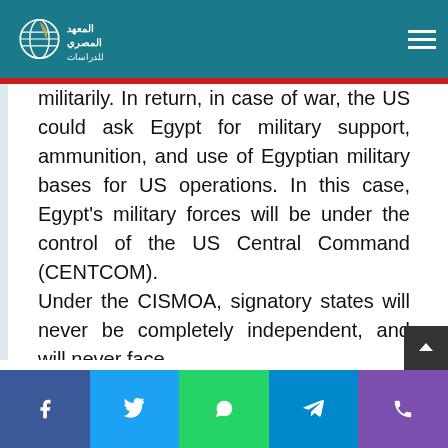Al-Masry Institute for Studies logo and navigation header
militarily. In return, in case of war, the US could ask Egypt for military support, ammunition, and use of Egyptian military bases for US operations. In this case, Egypt's military forces will be under the control of the US Central Command (CENTCOM). Under the CISMOA, signatory states will never be completely independent, and will never face
Social share bar: Facebook, Twitter, WhatsApp, Telegram, Phone